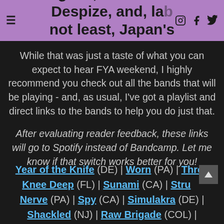rigade, Scotland's Despize, and, last but not least, Japan's Kruelty.
While that was just a taste of what you can expect to hear FYA weekend, I highly recommend you check out all the bands that will be playing - and, as usual, I've got a playlist and direct links to the bands to help you do just that.
After evaluating reader feedback, these links will go to Spotify instead of Bandcamp. Let me know if that switch works better for you!
Year of the Knife (DE) | Worn (PA) | Three Knee Deep (FL) | Sunami (CA) | Struck Nerve (PA) | Spy (CA) | Simulakra (DE) | Shackled (NJ) | Raw Brigade (COL) |